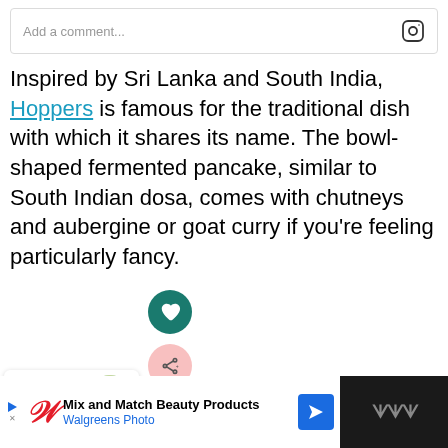[Figure (screenshot): Comment input box with Instagram camera icon on the right, placeholder text 'Add a comment...']
Inspired by Sri Lanka and South India, Hoppers is famous for the traditional dish with which it shares its name. The bowl-shaped fermented pancake, similar to South Indian dosa, comes with chutneys and aubergine or goat curry if you're feeling particularly fancy.
[Figure (infographic): Floating action buttons: dark teal heart FAB and pink share FAB, plus a 'What's Next' card showing 'The Best Vegetarian...' with a food image]
[Figure (screenshot): Advertisement bar: Walgreens Photo ad 'Mix and Match Beauty Products' with navigation and mute icons on dark background]